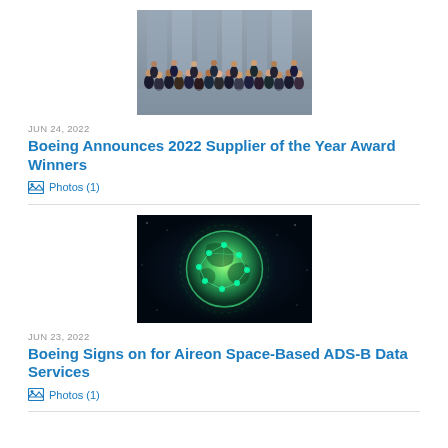[Figure (photo): Group photo of Boeing supplier award winners, large group of people in formal attire standing in front of a glass building.]
JUN 24, 2022
Boeing Announces 2022 Supplier of the Year Award Winners
Photos (1)
[Figure (photo): Dark background image showing a glowing green globe/sphere with network nodes, representing Aireon space-based ADS-B technology.]
JUN 23, 2022
Boeing Signs on for Aireon Space-Based ADS-B Data Services
Photos (1)